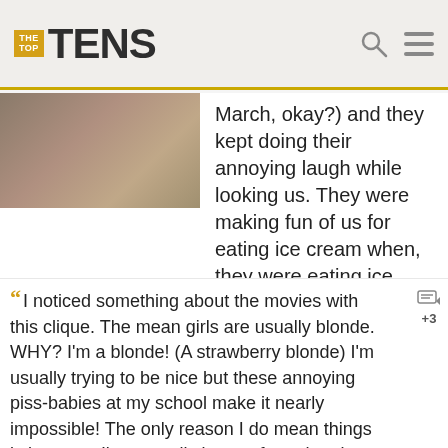THE TOP TENS
[Figure (photo): Partial photo of people at top left]
March, okay?) and they kept doing their annoying laugh while looking us. They were making fun of us for eating ice cream when, they were eating ice cream themselves!
I noticed something about the movies with this clique. The mean girls are usually blonde. WHY? I'm a blonde! (A strawberry blonde) I'm usually trying to be nice but these annoying piss-babies at my school make it nearly impossible! The only reason I do mean things is because I'm mentally insane from the abuse from these kids at my school that I had to take!
The popular girls that are like, sooo obsessed with hair and makeup and boys.